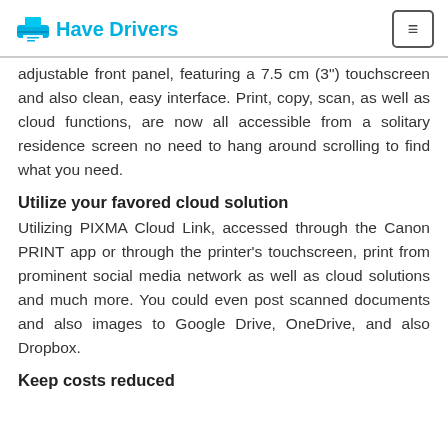Have Drivers
adjustable front panel, featuring a 7.5 cm (3") touchscreen and also clean, easy interface. Print, copy, scan, as well as cloud functions, are now all accessible from a solitary residence screen no need to hang around scrolling to find what you need.
Utilize your favored cloud solution
Utilizing PIXMA Cloud Link, accessed through the Canon PRINT app or through the printer’s touchscreen, print from prominent social media network as well as cloud solutions and much more. You could even post scanned documents and also images to Google Drive, OneDrive, and also Dropbox.
Keep costs reduced